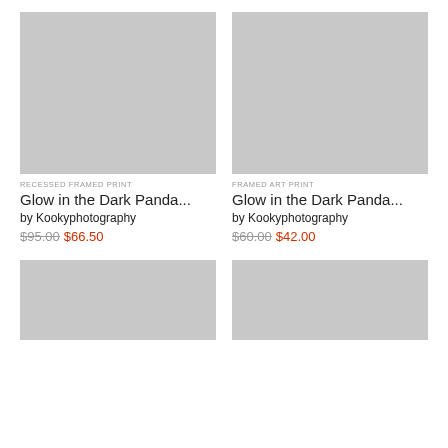[Figure (photo): Gray placeholder image for Recessed Framed Print product]
RECESSED FRAMED PRINT
Glow in the Dark Panda...
by Kookyphotography
$95.00 $66.50
[Figure (photo): Gray placeholder image for Framed Art Print product]
FRAMED ART PRINT
Glow in the Dark Panda...
by Kookyphotography
$60.00 $42.00
[Figure (photo): Gray placeholder image bottom left]
[Figure (photo): Gray placeholder image bottom right]